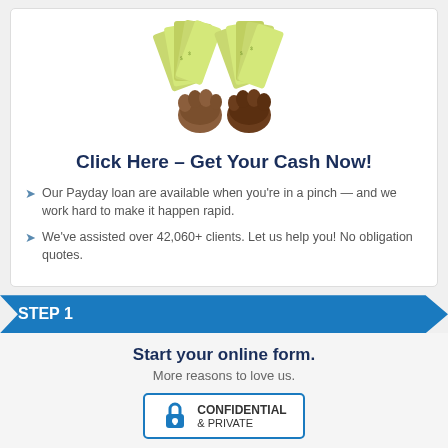[Figure (illustration): Two fists holding fanned-out paper money bills (US dollars) illustration]
Click Here – Get Your Cash Now!
Our Payday loan are available when you're in a pinch — and we work hard to make it happen rapid.
We've assisted over 42,060+ clients. Let us help you! No obligation quotes.
STEP 1
Start your online form.
More reasons to love us.
[Figure (illustration): Confidential & Private badge/seal with padlock icon]